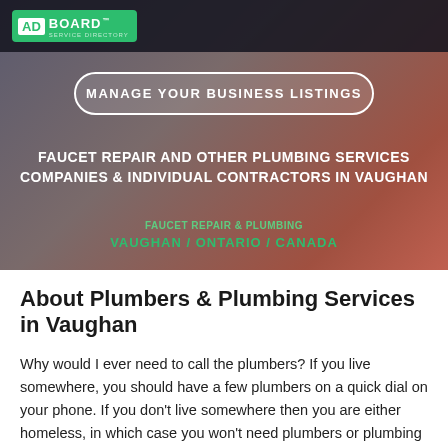[Figure (screenshot): AdBoard service directory logo in green on dark navigation bar]
MANAGE YOUR BUSINESS LISTINGS
FAUCET REPAIR AND OTHER PLUMBING SERVICES COMPANIES & INDIVIDUAL CONTRACTORS IN VAUGHAN
FAUCET REPAIR & PLUMBING VAUGHAN / ONTARIO / CANADA
About Plumbers & Plumbing Services in Vaughan
Why would I ever need to call the plumbers? If you live somewhere, you should have a few plumbers on a quick dial on your phone. If you don't live somewhere then you are either homeless, in which case you won't need plumbers or plumbing services – you have other problems, or you live in a hotel, etc. in which case you might need plumbers on occasion, but that's someone else's problem. Though you would only ever ask the